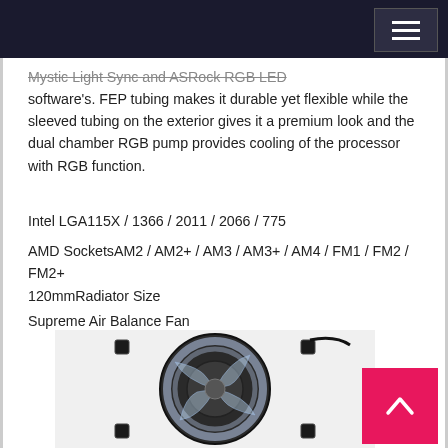Mystic Light Sync and ASRock RGB LED software's. FEP tubing makes it durable yet flexible while the sleeved tubing on the exterior gives it a premium look and the dual chamber RGB pump provides cooling of the processor with RGB function.
Intel LGA115X / 1366 / 2011 / 2066 / 775
AMD SocketsAM2 / AM2+ / AM3 / AM3+ / AM4 / FM1 / FM2 / FM2+
120mmRadiator Size
Supreme Air Balance Fan
[Figure (photo): A circular cooling fan or radiator component for a liquid CPU cooler, shown from the front, with a clear/transparent fan blade design and dark frame/housing.]